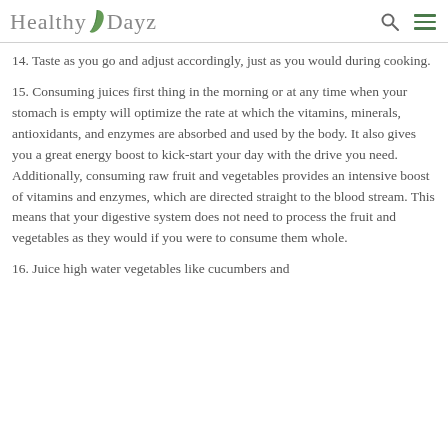HealthyDayz
14. Taste as you go and adjust accordingly, just as you would during cooking.
15. Consuming juices first thing in the morning or at any time when your stomach is empty will optimize the rate at which the vitamins, minerals, antioxidants, and enzymes are absorbed and used by the body. It also gives you a great energy boost to kick-start your day with the drive you need. Additionally, consuming raw fruit and vegetables provides an intensive boost of vitamins and enzymes, which are directed straight to the blood stream. This means that your digestive system does not need to process the fruit and vegetables as they would if you were to consume them whole.
16. Juice high water vegetables like cucumbers and...